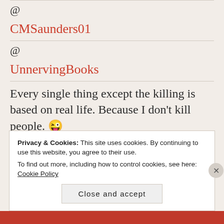@
CMSaunders01
@
UnnervingBooks
Every single thing except the killing is based on real life. Because I don't kill people. 😜
1 week ago
RT @
UnnervingBooks
Privacy & Cookies: This site uses cookies. By continuing to use this website, you agree to their use. To find out more, including how to control cookies, see here: Cookie Policy
Close and accept